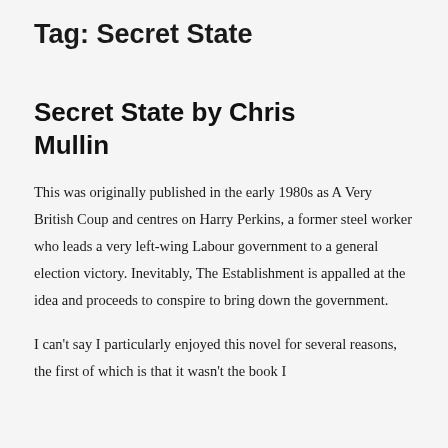Tag: Secret State
Secret State by Chris Mullin
This was originally published in the early 1980s as A Very British Coup and centres on Harry Perkins, a former steel worker who leads a very left-wing Labour government to a general election victory. Inevitably, The Establishment is appalled at the idea and proceeds to conspire to bring down the government.
I can't say I particularly enjoyed this novel for several reasons, the first of which is that it wasn't the book I